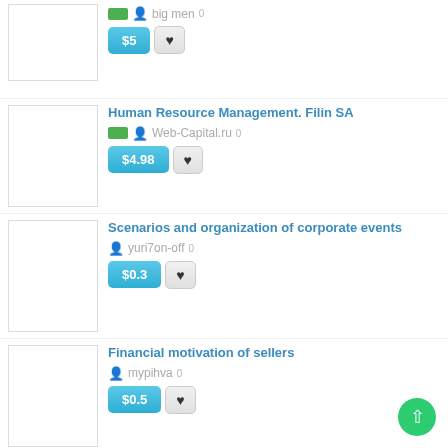big men 0 $5
Human Resource Management. Filin SA — Web-Capital.ru 0 $4.98
Scenarios and organization of corporate events — yuri7on-off 0 $0.3
Financial motivation of sellers — mypihva 0 $0.5
Magic and culture in management science — mypihva 0 $0.5